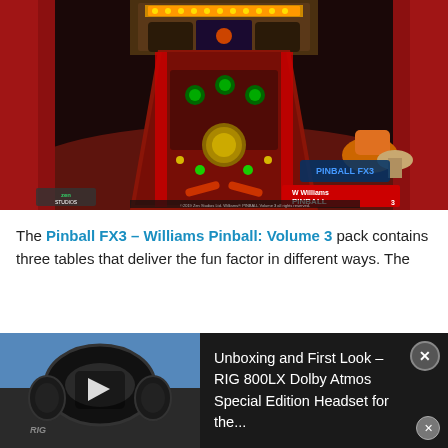[Figure (screenshot): Screenshot of Pinball FX3 – Williams Pinball: Volume 3 video game showing a 3D overhead view of a pinball table in a retro arcade lounge environment. The Zen Studios and Williams Pinball Volume 3 logos are visible in the lower corners.]
The Pinball FX3 – Williams Pinball: Volume 3 pack contains three tables that deliver the fun factor in different ways. The Sho...
[Figure (screenshot): Overlaid video ad banner showing headphones (RIG 800LX) against a blue background with a play button. Text reads: Unboxing and First Look – RIG 800LX Dolby Atmos Special Edition Headset for the...]